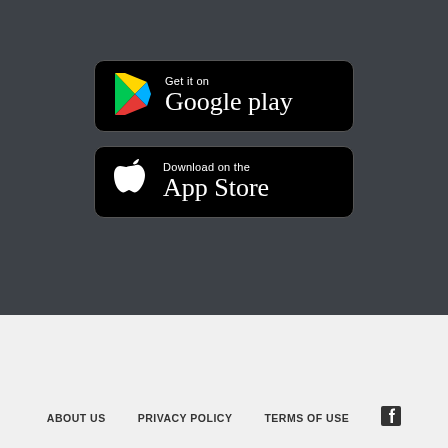[Figure (logo): Google Play store badge: black rounded rectangle with Google Play triangle logo (multicolored) and text 'Get it on Google play']
[Figure (logo): Apple App Store badge: black rounded rectangle with white Apple logo and text 'Download on the App Store']
ABOUT US
PRIVACY POLICY
TERMS OF USE
[Figure (logo): Facebook icon (letter f in square)]